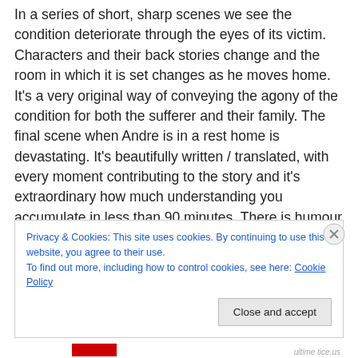In a series of short, sharp scenes we see the condition deteriorate through the eyes of its victim. Characters and their back stories change and the room in which it is set changes as he moves home. It's a very original way of conveying the agony of the condition for both the sufferer and their family. The final scene when Andre is in a rest home is devastating. It's beautifully written / translated, with every moment contributing to the story and it's extraordinary how much understanding you accumulate in less than 90 minutes. There is humour as well as frustration and sadness to lighten the tone without
Privacy & Cookies: This site uses cookies. By continuing to use this website, you agree to their use.
To find out more, including how to control cookies, see here: Cookie Policy
Close and accept